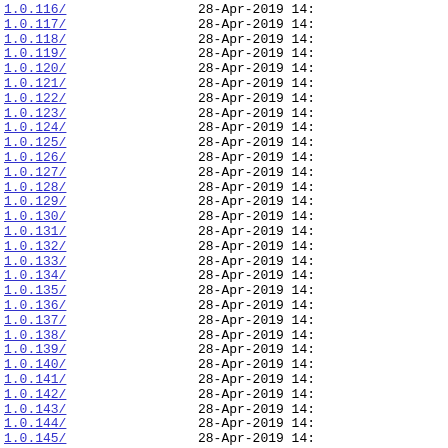| Name | Last modified |
| --- | --- |
| 1.0.116/ | 28-Apr-2019 14: |
| 1.0.117/ | 28-Apr-2019 14: |
| 1.0.118/ | 28-Apr-2019 14: |
| 1.0.119/ | 28-Apr-2019 14: |
| 1.0.120/ | 28-Apr-2019 14: |
| 1.0.121/ | 28-Apr-2019 14: |
| 1.0.122/ | 28-Apr-2019 14: |
| 1.0.123/ | 28-Apr-2019 14: |
| 1.0.124/ | 28-Apr-2019 14: |
| 1.0.125/ | 28-Apr-2019 14: |
| 1.0.126/ | 28-Apr-2019 14: |
| 1.0.127/ | 28-Apr-2019 14: |
| 1.0.128/ | 28-Apr-2019 14: |
| 1.0.129/ | 28-Apr-2019 14: |
| 1.0.130/ | 28-Apr-2019 14: |
| 1.0.131/ | 28-Apr-2019 14: |
| 1.0.132/ | 28-Apr-2019 14: |
| 1.0.133/ | 28-Apr-2019 14: |
| 1.0.134/ | 28-Apr-2019 14: |
| 1.0.135/ | 28-Apr-2019 14: |
| 1.0.136/ | 28-Apr-2019 14: |
| 1.0.137/ | 28-Apr-2019 14: |
| 1.0.138/ | 28-Apr-2019 14: |
| 1.0.139/ | 28-Apr-2019 14: |
| 1.0.140/ | 28-Apr-2019 14: |
| 1.0.141/ | 28-Apr-2019 14: |
| 1.0.142/ | 28-Apr-2019 14: |
| 1.0.143/ | 28-Apr-2019 14: |
| 1.0.144/ | 28-Apr-2019 14: |
| 1.0.145/ | 28-Apr-2019 14: |